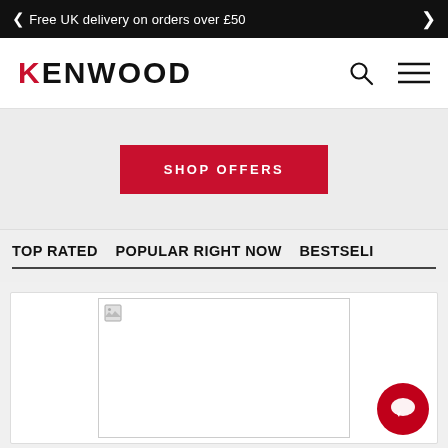Free UK delivery on orders over £50
[Figure (logo): Kenwood brand logo with red K]
SHOP OFFERS
TOP RATED  POPULAR RIGHT NOW  BESTSELI
[Figure (photo): Product image placeholder (broken image icon visible)]